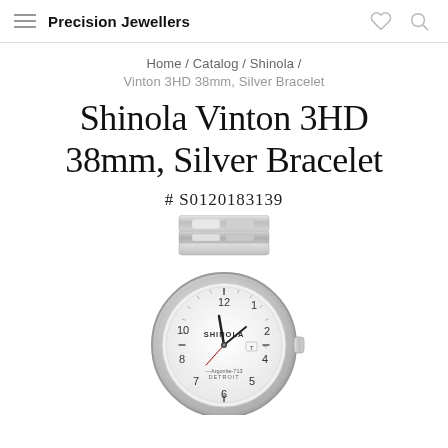Precision Jewellers
Home / Catalog / Shinola /
Vinton 3HD 38mm, Silver Bracelet
Shinola Vinton 3HD 38mm, Silver Bracelet
# S0120183139
[Figure (photo): Shinola Vinton 3HD 38mm watch with silver stainless steel bracelet and white dial showing Arabic numerals, Shinola Detroit branding, and Argonite-713 movement label.]